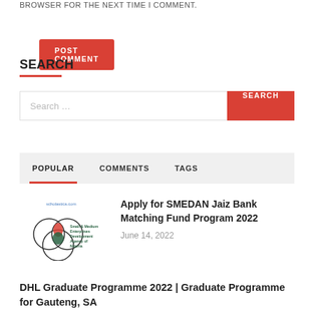BROWSER FOR THE NEXT TIME I COMMENT.
POST COMMENT
SEARCH
Search...
SEARCH
POPULAR   COMMENTS   TAGS
[Figure (logo): SMEDAN - Small & Medium Enterprises Development Agency of Nigeria logo with overlapping circles]
Apply for SMEDAN Jaiz Bank Matching Fund Program 2022
June 14, 2022
DHL Graduate Programme 2022 | Graduate Programme for Gauteng, SA